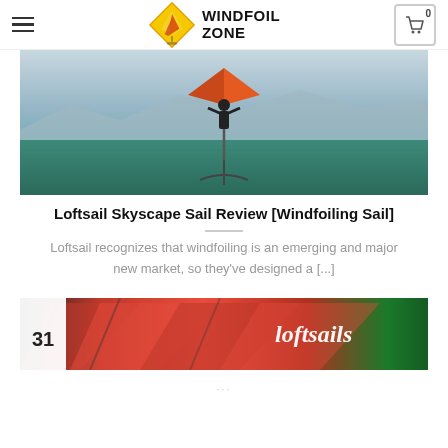WINDFOIL ZONE
[Figure (photo): Windsurfer performing an aerial maneuver above the water with an orange sail, mountains and water in the background]
Loftsail Skyscape Sail Review [Windfoiling Sail]
Loftsail recognizes that windfoiling is an emerging and major new market, so they've designed a [...]
[Figure (photo): Aerial view of orange and red loftsails equipment laid out on green grass, with 'loftsails' text visible]